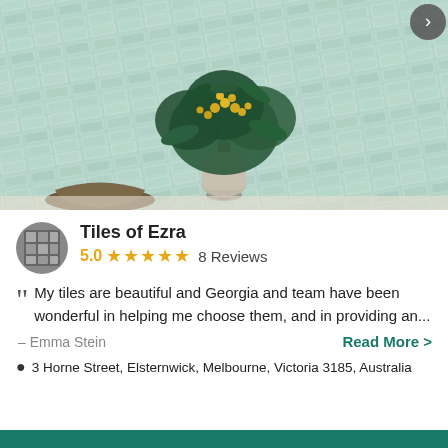[Figure (photo): Photo of herringbone mint/green glazed wall tiles with a floral arrangement in a silver vase in the foreground, and a dark metallic bowl to the left]
Tiles of Ezra
5.0 ★★★★★ 8 Reviews
My tiles are beautiful and Georgia and team have been wonderful in helping me choose them, and in providing an...
– Emma Stein
Read More >
3 Horne Street, Elsternwick, Melbourne, Victoria 3185, Australia